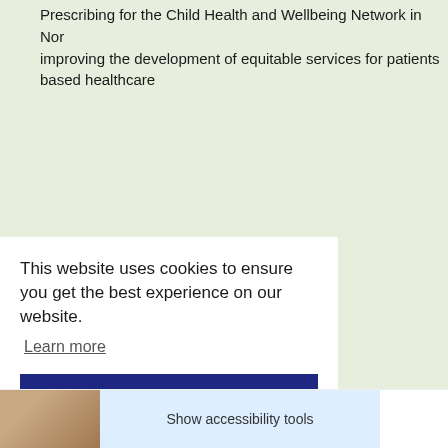Prescribing for the Child Health and Wellbeing Network in Nor improving the development of equitable services for patients based healthcare
This website uses cookies to ensure you get the best experience on our website.
Learn more
Got it!
Show accessibility tools